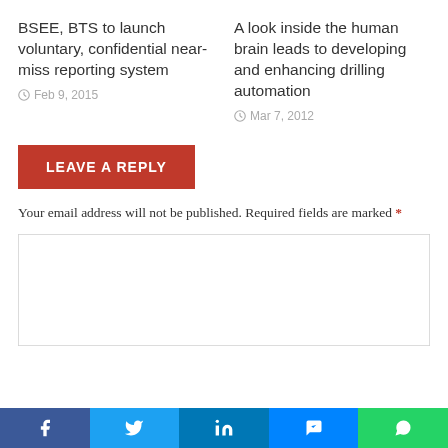BSEE, BTS to launch voluntary, confidential near-miss reporting system
Feb 9, 2015
A look inside the human brain leads to developing and enhancing drilling automation
Mar 7, 2012
LEAVE A REPLY
Your email address will not be published. Required fields are marked *
[Figure (screenshot): Empty comment text area box]
[Figure (infographic): Social media sharing bar with Facebook, Twitter, LinkedIn, Messenger, and WhatsApp buttons]